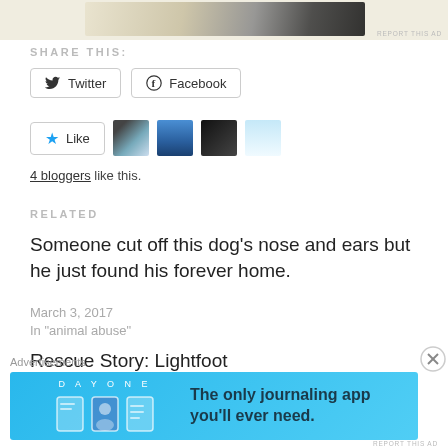[Figure (photo): Top ad strip image showing cards/papers on beige background]
SHARE THIS:
Twitter  Facebook (share buttons)
Like button with 4 blogger avatar thumbnails
4 bloggers like this.
RELATED
Someone cut off this dog's nose and ears but he just found his forever home.
March 3, 2017
In "animal abuse"
Rescue Story: Lightfoot
Advertisements
[Figure (photo): Day One journaling app advertisement banner — blue background with illustrated icons and text: The only journaling app you'll ever need.]